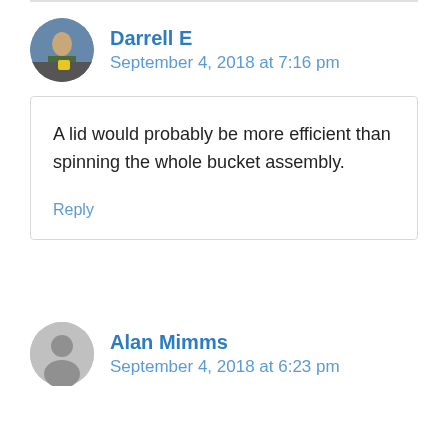[Figure (photo): Circular avatar photo of Darrell E showing a person outdoors with equipment]
Darrell E
September 4, 2018 at 7:16 pm
A lid would probably be more efficient than spinning the whole bucket assembly.
Reply
[Figure (illustration): Generic circular user avatar icon in gray for Alan Mimms]
Alan Mimms
September 4, 2018 at 6:23 pm